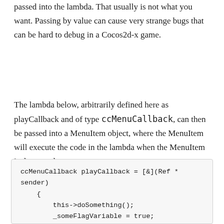passed into the lambda. That usually is not what you want. Passing by value can cause very strange bugs that can be hard to debug in a Cocos2d-x game.
The lambda below, arbitrarily defined here as playCallback and of type ccMenuCallback, can then be passed into a MenuItem object, where the MenuItem will execute the code in the lambda when the MenuItem is depressed.
ccMenuCallback playCallback = [&](Ref *sender)
{
    this->doSomething();
    _someFlagVariable = true;
    Scene *nextScene =
GamePlayScene::createScene();
    Director::getInstance();